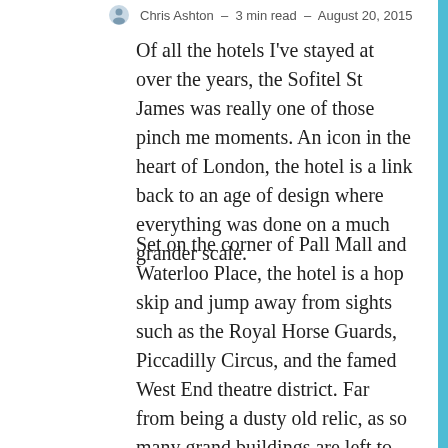Chris Ashton – 3 min read – August 20, 2015
Of all the hotels I've stayed at over the years, the Sofitel St James was really one of those pinch me moments. An icon in the heart of London, the hotel is a link back to an age of design where everything was done on a much grander scale.
Set on the corner of Pall Mall and Waterloo Place, the hotel is a hop skip and jump away from sights such as the Royal Horse Guards, Piccadilly Circus, and the famed West End theatre district. Far from being a dusty old relic, as so many grand buildings are left to become, this Grade II Listed building conceals a beautifully renovated interior – a fusion of classic British and contemporary French design.